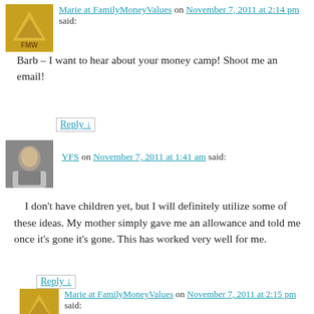Marie at FamilyMoneyValues on November 7, 2011 at 2:14 pm said:
Barb – I want to hear about your money camp! Shoot me an email!
Reply ↓
YFS on November 7, 2011 at 1:41 am said:
I don't have children yet, but I will definitely utilize some of these ideas. My mother simply gave me an allowance and told me once it's gone it's gone. This has worked very well for me.
Reply ↓
Marie at FamilyMoneyValues on November 7, 2011 at 2:15 pm said:
She taught you that there are consequences to spending it all – something some people NEVER learn! Good for her!
Reply ↓